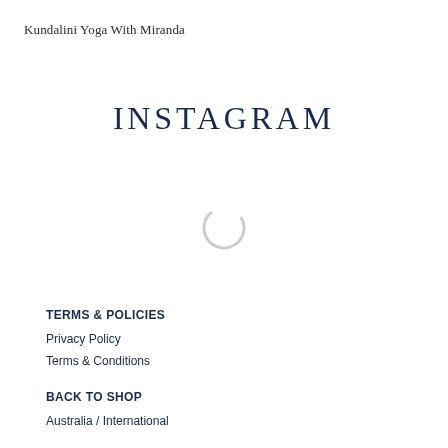Kundalini Yoga With Miranda
INSTAGRAM
[Figure (other): Loading spinner icon — a light grey partial circle arc indicating content is loading]
TERMS & POLICIES
Privacy Policy
Terms & Conditions
BACK TO SHOP
Australia / International